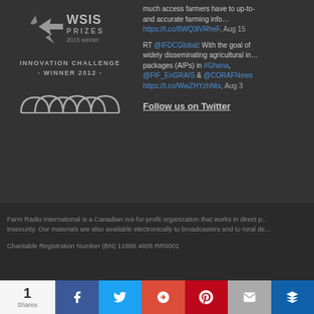[Figure (logo): WSIS Prizes 2015 winner logo with star/arrow icon]
INNOVATION CHALLENGE - WINNER 2012 -
[Figure (logo): Rockefeller Foundation logo with arched icons and text]
much access farmers have to up-to-date and accurate farming info… https://t.co/8WQ3lVRheF, Aug 15
RT @IFDCGlobal: With the goal of widely disseminating agricultural information packages (AIPs) in #Ghana, @FtF_EnGRAIS & @CORAFNews https://t.co/WwZHYzhNtx, Aug 3
Follow us on Twitter
Farm Radio International is a Canadian not-for-profit organization that works in direct partnership with broadcasters and rural people to fight poverty and food insecurity. Our materials are also available electronically to broadcasters and to rural development organizations.
Charitable Registration Number (BN) 11888 4808 RR0001